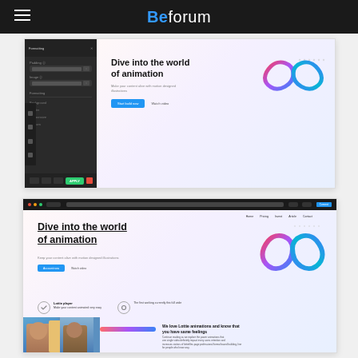Beforum
[Figure (screenshot): Screenshot of a web design tool showing a dark sidebar panel on the left with settings fields, and on the right a light gradient webpage preview featuring 'Dive into the world of animation' heading, a blue CTA button, and an infinity symbol graphic made of colorful gradient loops.]
[Figure (screenshot): Browser screenshot showing a webpage for an animation service with the headline 'Dive into the world of animation', navigation links (Home, Pricing, Invest, Article, Contact), a blue 'Account now' button, an infinity symbol graphic, feature icons with text, and a bottom section with a photo of people and a colorful text block saying 'We love Lottie animations and know that you have same feelings'.]